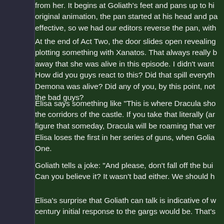from her. It begins at Goliath's feet and pans up to hi... original animation, the pan started at his head and pa... effective, so we had our editors reverse the pan, with...
At the end of Act Two, the door slides open revealing... plotting something with Xanatos. That always really b... away that she was alive in this episode. I didn't want... How did you guys react to this? Did that spill everyth... Demona was alive? Did any of you, by this point, not... the bad guys?
Elisa says something like "This is where Dracula sho... the corridors of the castle. If you take that literally (an... figure that someday, Dracula will be roaming that ver...
Elisa loses the first in her series of guns, when Golia... One.
Goliath tells a joke: "And please, don't fall off the bui... Can you believe it? It wasn't bad either. We should h...
Elisa's surprise that Goliath can talk is indicative of w... century initial response to the gargs would be. That's...